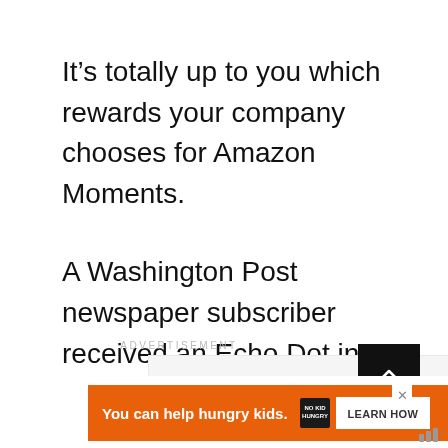It’s totally up to you which rewards your company chooses for Amazon Moments.
A Washington Post newspaper subscriber received an Echo Dot in 2019 through the Amazon Moments program.
ADVERTISEMENT
[Figure (other): Advertisement placeholder box with three grey squares in the center]
[Figure (other): Scroll-to-top button: dark square with upward chevron arrow]
You can help hungry kids.  NO KID HUNGRY  LEARN HOW